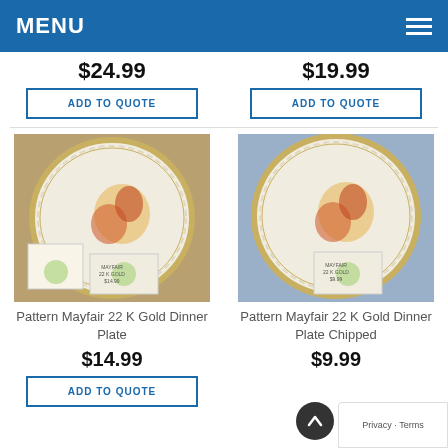MENU
$24.99
$19.99
ADD TO QUOTE
ADD TO QUOTE
[Figure (photo): Pattern Mayfair 22 K Gold Dinner Plate - white ceramic plate with floral design]
[Figure (photo): Pattern Mayfair 22 K Gold Dinner Plate Chipped - white ceramic plate with floral design]
Pattern Mayfair 22 K Gold Dinner Plate
Pattern Mayfair 22 K Gold Dinner Plate Chipped
$14.99
$9.99
ADD TO QUOTE